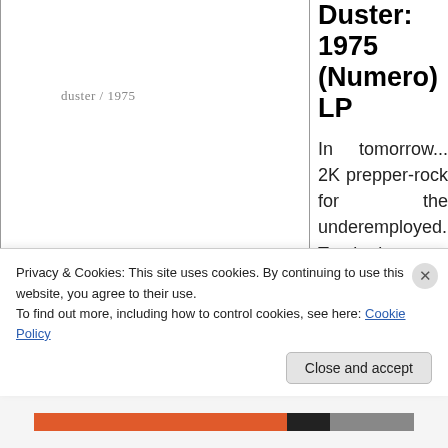[Figure (other): White rectangular area with light border, containing italic gray text 'duster / 1975' in the upper middle area]
Duster: 1975 (Numero) LP
In tomorrow... 2K prepper-rock for the underemployed. Tracked at home in
Privacy & Cookies: This site uses cookies. By continuing to use this website, you agree to their use.
To find out more, including how to control cookies, see here: Cookie Policy
Close and accept